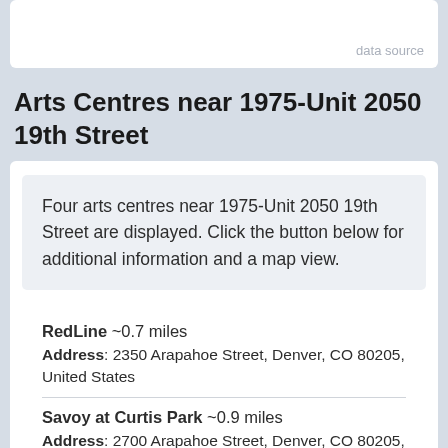data source
Arts Centres near 1975-Unit 2050 19th Street
Four arts centres near 1975-Unit 2050 19th Street are displayed. Click the button below for additional information and a map view.
RedLine ~0.7 miles
Address: 2350 Arapahoe Street, Denver, CO 80205, United States
Savoy at Curtis Park ~0.9 miles
Address: 2700 Arapahoe Street, Denver, CO 80205, United States